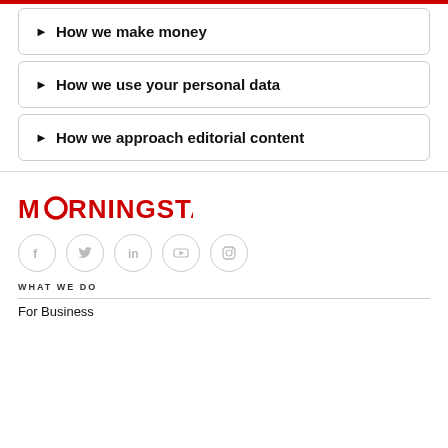▶ How we make money
▶ How we use your personal data
▶ How we approach editorial content
[Figure (logo): Morningstar logo in red]
[Figure (infographic): Social media icons: Facebook, Twitter, LinkedIn, YouTube, Instagram]
WHAT WE DO
For Business